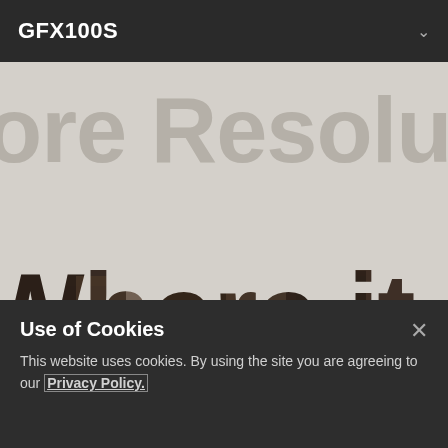GFX100S
[Figure (screenshot): Hero banner of a camera product page. Large bold partially visible text reads 'ore Resoluti' in light gray on a gray background, and below it 'Where it M' in a photo-textured style showing rocky/mountainous imagery filling the letterforms.]
Use of Cookies
This website uses cookies. By using the site you are agreeing to our Privacy Policy.